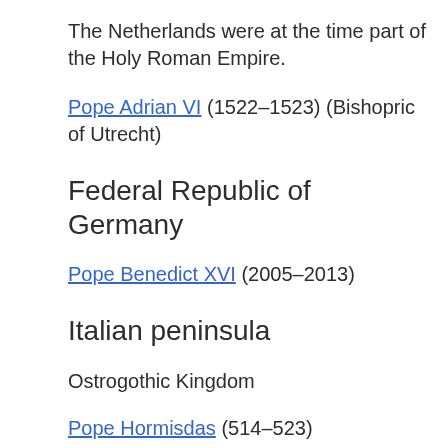The Netherlands were at the time part of the Holy Roman Empire.
Pope Adrian VI (1522–1523) (Bishopric of Utrecht)
Federal Republic of Germany
Pope Benedict XVI (2005–2013)
Italian peninsula
Ostrogothic Kingdom
Pope Hormisdas (514–523)